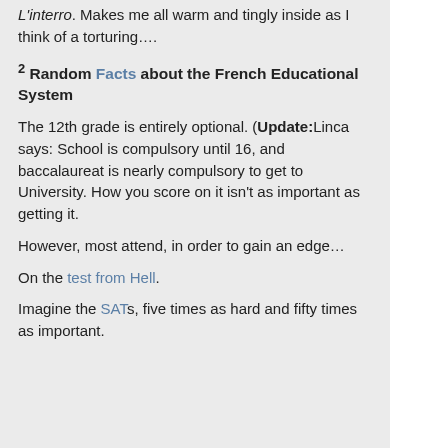L'interro. Makes me all warm and tingly inside as I think of a torturing….
² Random Facts about the French Educational System
The 12th grade is entirely optional. (Update: Linca says: School is compulsory until 16, and baccalaureat is nearly compulsory to get to University. How you score on it isn't as important as getting it.
However, most attend, in order to gain an edge…
On the test from Hell.
Imagine the SATs, five times as hard and fifty times as important.